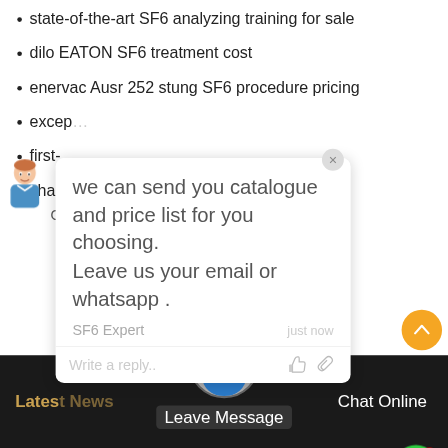state-of-the-art SF6 analyzing training for sale
dilo EATON SF6 treatment cost
enervac Ausr 252 stung SF6 procedure pricing
excep[tional...]
first-[...]
cham[ber...]
[Figure (screenshot): Chat popup overlay showing message: 'we can send you catalogue and price list for you choosing. Leave us your email or whatsapp.' from SF6 Expert, just now. Reply input field with Write a reply.. placeholder, thumbs up and attachment icons. A person avatar is shown at the left side.]
finest Sold 231 227 0 SF6 emissions
state-[...]
attractive quality SF6 remix manufacturers
[Figure (screenshot): Green circular chat icon with a '1' notification badge in red at top right.]
[Figure (screenshot): Orange scroll-to-top button with upward chevron arrow.]
Latest News   Leave Message   Chat Online